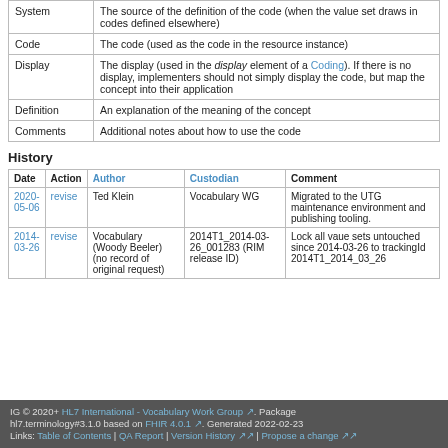|  |  |
| --- | --- |
| System | The source of the definition of the code (when the value set draws in codes defined elsewhere) |
| Code | The code (used as the code in the resource instance) |
| Display | The display (used in the display element of a Coding). If there is no display, implementers should not simply display the code, but map the concept into their application |
| Definition | An explanation of the meaning of the concept |
| Comments | Additional notes about how to use the code |
History
| Date | Action | Author | Custodian | Comment |
| --- | --- | --- | --- | --- |
| 2020-05-06 | revise | Ted Klein | Vocabulary WG | Migrated to the UTG maintenance environment and publishing tooling. |
| 2014-03-26 | revise | Vocabulary (Woody Beeler) (no record of original request) | 2014T1_2014-03-26_001283 (RIM release ID) | Lock all vaue sets untouched since 2014-03-26 to trackingId 2014T1_2014_03_26 |
IG © 2020+ HL7 International - Vocabulary Work Group. Package hl7.terminology#3.1.0 based on FHIR 4.0.1. Generated 2022-02-23 Links: Table of Contents | QA Report | Version History | Propose a change